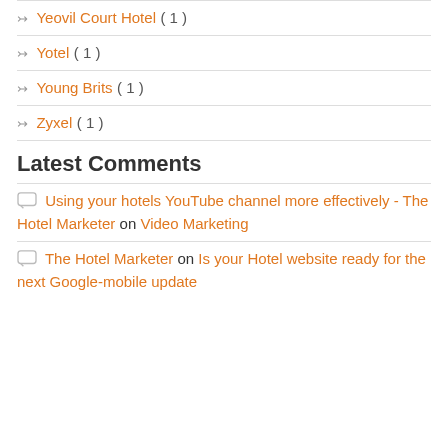Yeovil Court Hotel ( 1 )
Yotel ( 1 )
Young Brits ( 1 )
Zyxel ( 1 )
Latest Comments
Using your hotels YouTube channel more effectively - The Hotel Marketer on Video Marketing
The Hotel Marketer on Is your Hotel website ready for the next Google-mobile update